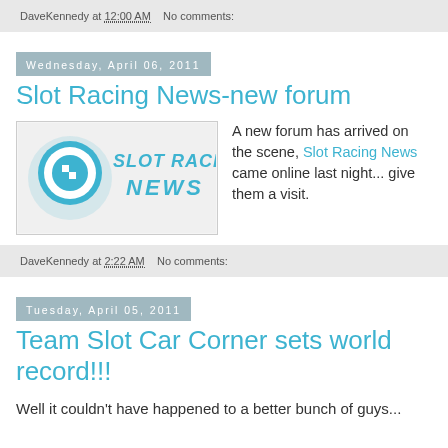DaveKennedy at 12:00 AM   No comments:
Wednesday, April 06, 2011
Slot Racing News-new forum
[Figure (logo): Slot Racing News logo — teal/cyan swoosh with text SLOT RACING NEWS]
A new forum has arrived on the scene, Slot Racing News came online last night... give them a visit.
DaveKennedy at 2:22 AM   No comments:
Tuesday, April 05, 2011
Team Slot Car Corner sets world record!!!
Well it couldn't have happened to a better bunch of guys...